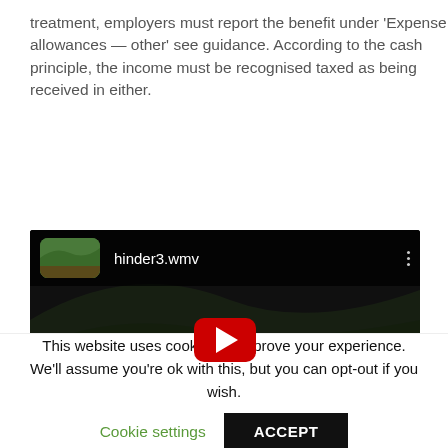treatment, employers must report the benefit under 'Expense allowances — other' see guidance. According to the cash principle, the income must be recognised taxed as being received in either.
[Figure (screenshot): YouTube video player showing a video titled 'hinder3.wmv' with a thumbnail of a horse racing/harness racing scene, with a red play button in the center.]
This website uses cookies to improve your experience. We'll assume you're ok with this, but you can opt-out if you wish. Cookie settings ACCEPT